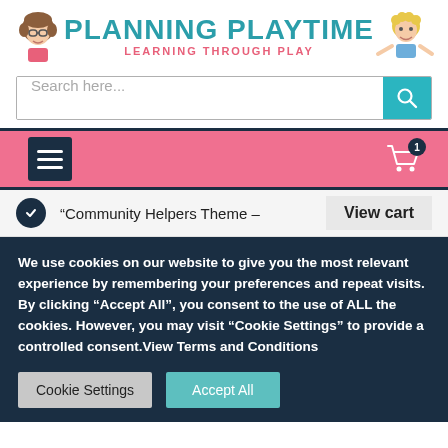[Figure (logo): Planning Playtime logo with illustrated girl and boy characters, teal and dark navy text reading PLANNING PLAYTIME, pink subtitle LEARNING THROUGH PLAY]
[Figure (screenshot): Search bar with placeholder text 'Search here...' and teal search button with magnifying glass icon]
[Figure (screenshot): Pink navigation bar with dark navy hamburger menu icon on left and shopping cart icon with badge showing '1' on right]
“Community Helpers Theme –
View cart
We use cookies on our website to give you the most relevant experience by remembering your preferences and repeat visits. By clicking “Accept All”, you consent to the use of ALL the cookies. However, you may visit "Cookie Settings" to provide a controlled consent.View Terms and Conditions
Cookie Settings
Accept All